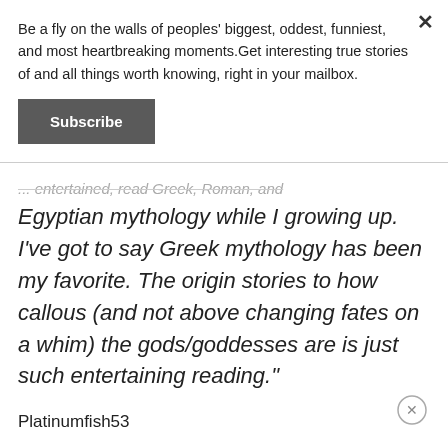Be a fly on the walls of peoples' biggest, oddest, funniest, and most heartbreaking moments.Get interesting true stories of and all things worth knowing, right in your mailbox.
Subscribe
...entertained, read Greek, Roman, and Egyptian mythology while I growing up. I've got to say Greek mythology has been my favorite. The origin stories to how callous (and not above changing fates on a whim) the gods/goddesses are is just such entertaining reading."
Platinumfish53